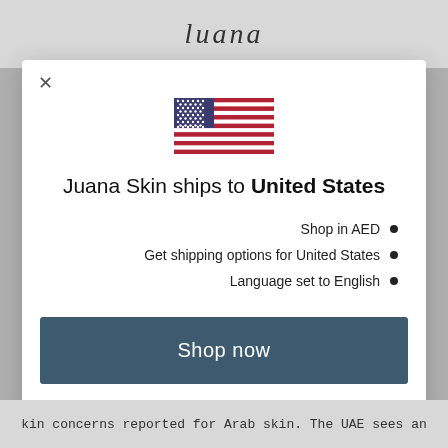Juana
[Figure (illustration): US flag emoji/illustration]
Juana Skin ships to United States
Shop in AED
Get shipping options for United States
Language set to English
Shop now
Change shipping country and language
kin concerns reported for Arab skin. The UAE sees an